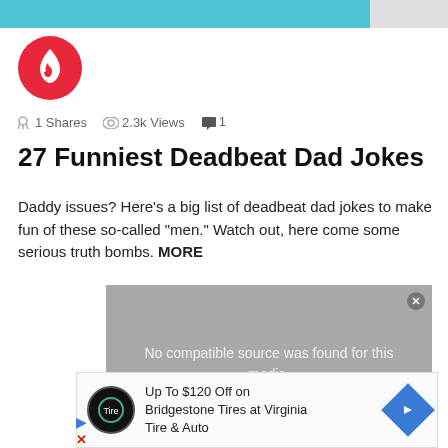[Figure (logo): Red circle logo with white flame icon]
1 Shares  2.3k Views  1
27 Funniest Deadbeat Dad Jokes
Daddy issues? Here's a big list of deadbeat dad jokes to make fun of these so-called “men.” Watch out, here come some serious truth bombs. MORE
[Figure (screenshot): Video player showing 'No compatible source was found for this media.']
Up To $120 Off on Bridgestone Tires at Virginia Tire & Auto